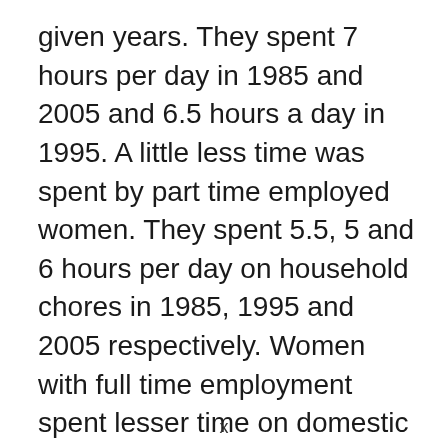given years. They spent 7 hours per day in 1985 and 2005 and 6.5 hours a day in 1995. A little less time was spent by part time employed women. They spent 5.5, 5 and 6 hours per day on household chores in 1985, 1995 and 2005 respectively. Women with full time employment spent lesser time on domestic work than the other two categories of women. They spent 2 hours per day in 1985; 1.5 hours per day in 1995 and 2.5 hours/day in 2005. Full time employed men spent one hour per day in 1985 and 1995 and 1.5 hours per day in 2005. No data is given
x